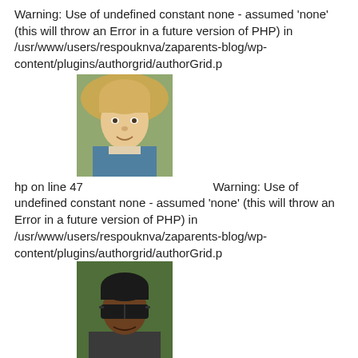Warning: Use of undefined constant none - assumed 'none' (this will throw an Error in a future version of PHP) in /usr/www/users/respouknva/zaparents-blog/wp-content/plugins/authorgrid/authorGrid.p
[Figure (photo): Headshot photo of a blonde middle-aged man]
hp on line 47  Warning: Use of undefined constant none - assumed 'none' (this will throw an Error in a future version of PHP) in /usr/www/users/respouknva/zaparents-blog/wp-content/plugins/authorgrid/authorGrid.p
[Figure (photo): Headshot photo of a dark-haired man wearing sunglasses]
hp on line 47  Warning: Use of undefined constant none - assumed 'none' (this will throw an Error in a future version of PHP) in /usr/www/users/respouknva/zaparents-blog/wp-content/plugins/authorgrid/authorGrid.p